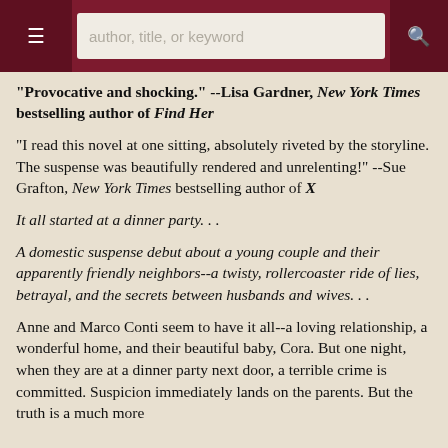author, title, or keyword
"Provocative and shocking." --Lisa Gardner, New York Times bestselling author of Find Her
"I read this novel at one sitting, absolutely riveted by the storyline. The suspense was beautifully rendered and unrelenting!" --Sue Grafton, New York Times bestselling author of X
It all started at a dinner party. . .
A domestic suspense debut about a young couple and their apparently friendly neighbors--a twisty, rollercoaster ride of lies, betrayal, and the secrets between husbands and wives. . .
Anne and Marco Conti seem to have it all--a loving relationship, a wonderful home, and their beautiful baby, Cora. But one night, when they are at a dinner party next door, a terrible crime is committed. Suspicion immediately lands on the parents. But the truth is a much more